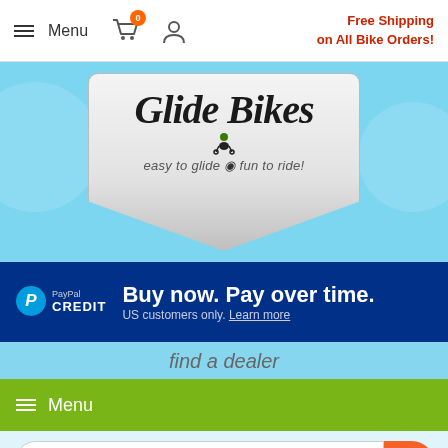Menu | Cart (0) | Account | Free Shipping on All Bike Orders!
[Figure (logo): Glide Bikes logo badge with script text 'Glide Bikes', tagline 'easy to glide fun to ride!' and cartoon biker mascot, on light blue background]
[Figure (infographic): PayPal Credit banner: blue background, PayPal Credit logo, text 'Buy now. Pay over time.' and 'US customers only. Learn more']
find a dealer
Menu
[Figure (screenshot): Search bar with placeholder 'Search products' and orange search button]
[Figure (screenshot): Video thumbnail showing Glide Bikes channel avatar and title 'Glide Bikes - Sarah's Testimonial']